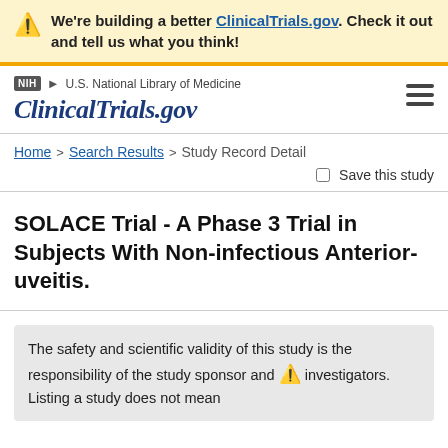We're building a better ClinicalTrials.gov. Check it out and tell us what you think!
NIH | U.S. National Library of Medicine | ClinicalTrials.gov
Home > Search Results > Study Record Detail
Save this study
SOLACE Trial - A Phase 3 Trial in Subjects With Non-infectious Anterior-uveitis.
The safety and scientific validity of this study is the responsibility of the study sponsor and investigators. Listing a study does not mean